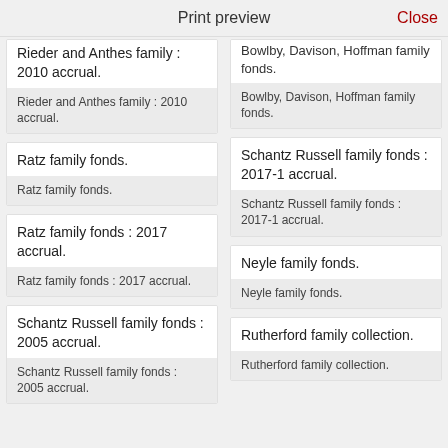Print preview   Close
Rieder and Anthes family : 2010 accrual.
Rieder and Anthes family : 2010 accrual.
Ratz family fonds.
Ratz family fonds.
Ratz family fonds : 2017 accrual.
Ratz family fonds : 2017 accrual.
Schantz Russell family fonds : 2005 accrual.
Schantz Russell family fonds : 2005 accrual.
Bowlby, Davison, Hoffman family fonds.
Bowlby, Davison, Hoffman family fonds.
Schantz Russell family fonds : 2017-1 accrual.
Schantz Russell family fonds : 2017-1 accrual.
Neyle family fonds.
Neyle family fonds.
Rutherford family collection.
Rutherford family collection.